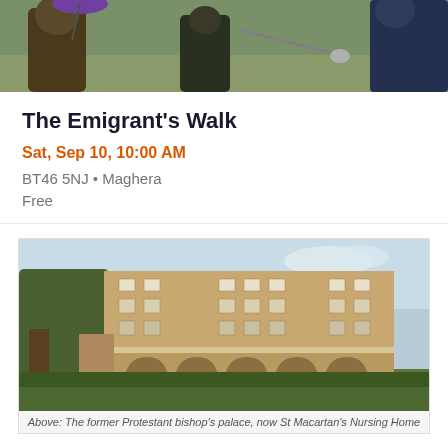[Figure (photo): Partial view of people outdoors, including a person in a green jacket holding a purple umbrella and another in a dark blue jacket]
The Emigrant's Walk
Sat, Sep 10, 10:00 AM
BT46 5NJ • Maghera
Free
[Figure (photo): A large stone building - the former Protestant bishop's palace, now St Macartan's Nursing Home. Four-storey sandstone structure with arched colonnades at the base, surrounded by trees and hedges.]
Above: The former Protestant bishop's palace, now St Macartan's Nursing Home